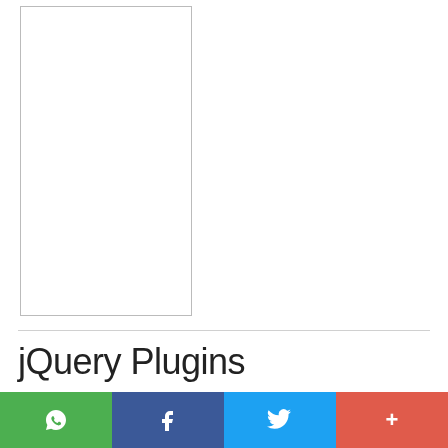[Figure (other): A bordered empty/white rectangle representing a mobile device or image placeholder]
jQuery Plugins
3D Slider
AutoComplete
[Figure (infographic): Social sharing bar with four buttons: WhatsApp (green), Facebook (dark blue), Twitter (light blue), and More/Plus (red-orange)]